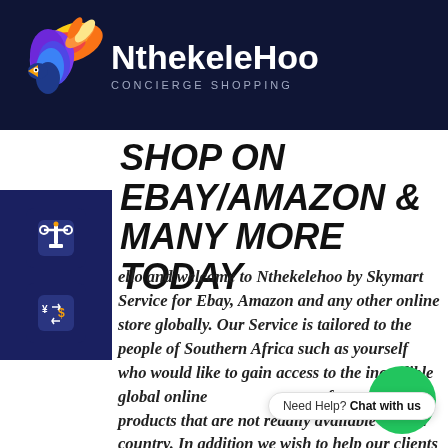[Figure (logo): NthekeleHoo Concierge Shopping logo with colorful phoenix/bird wings and brand name on dark navy background]
SHOP ON EBAY/AMAZON & MANY MORE TODAY
[Figure (illustration): Dark navy sidebar with two icon buttons: a scale/balance icon and a currency exchange icon]
Hello and welcome to Nthekelehoo by Skymart Service for Ebay, Amazon and any other online store globally. Our Service is tailored to the people of Southern Africa such as yourself who would like to gain access to the incredible global online shopping experience for unique products that are not readily available in your country. In addition we wish to help our clients shop
Need Help? Chat with us